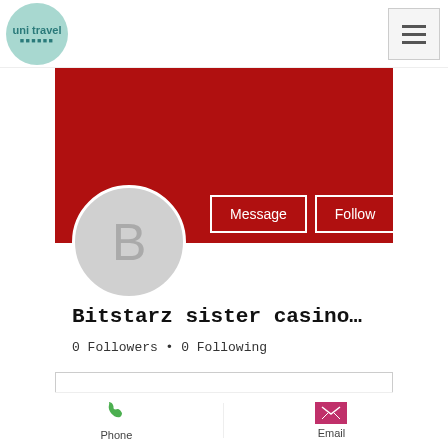[Figure (logo): uni travel logo in a teal/mint circle]
[Figure (screenshot): Hamburger menu icon in a box]
[Figure (screenshot): Red banner profile header area]
[Figure (illustration): Grey avatar circle with letter B]
Message
Follow
Bitstarz sister casino…
0 Followers • 0 Following
Profile
[Figure (illustration): Phone icon in green]
Phone
[Figure (illustration): Email envelope icon in magenta/pink]
Email